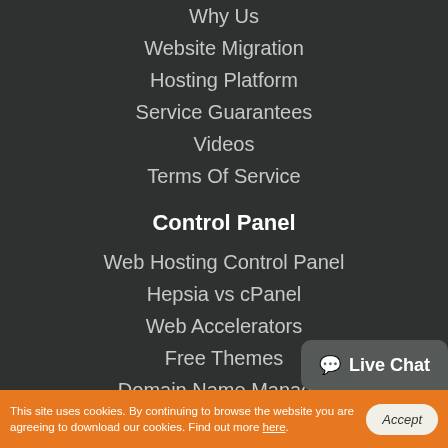Why Us
Website Migration
Hosting Platform
Service Guarantees
Videos
Terms Of Service
Control Panel
Web Hosting Control Panel
Hepsia vs cPanel
Web Accelerators
Free Themes
Domain Name Manager
File Manager
Hepsia Email Manager
Stats Manager
Databases Manager
This site uses cookies. By continuing to browse the website you are agreeing to download our cookies. Find out more here.